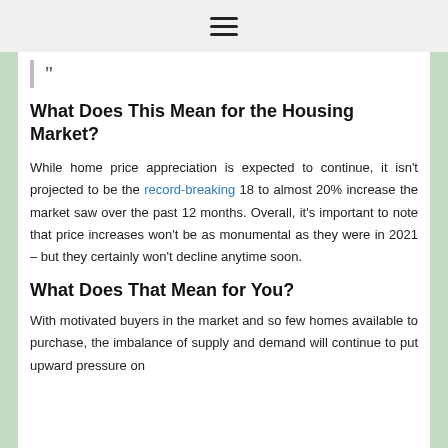≡
”
What Does This Mean for the Housing Market?
While home price appreciation is expected to continue, it isn’t projected to be the record-breaking 18 to almost 20% increase the market saw over the past 12 months. Overall, it’s important to note that price increases won’t be as monumental as they were in 2021 – but they certainly won’t decline anytime soon.
What Does That Mean for You?
With motivated buyers in the market and so few homes available to purchase, the imbalance of supply and demand will continue to put upward pressure on